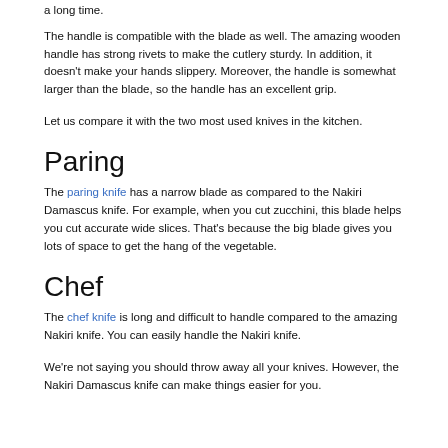a long time.
The handle is compatible with the blade as well. The amazing wooden handle has strong rivets to make the cutlery sturdy. In addition, it doesn't make your hands slippery. Moreover, the handle is somewhat larger than the blade, so the handle has an excellent grip.
Let us compare it with the two most used knives in the kitchen.
Paring
The paring knife has a narrow blade as compared to the Nakiri Damascus knife. For example, when you cut zucchini, this blade helps you cut accurate wide slices. That's because the big blade gives you lots of space to get the hang of the vegetable.
Chef
The chef knife is long and difficult to handle compared to the amazing Nakiri knife. You can easily handle the Nakiri knife.
We're not saying you should throw away all your knives. However, the Nakiri Damascus knife can make things easier for you.